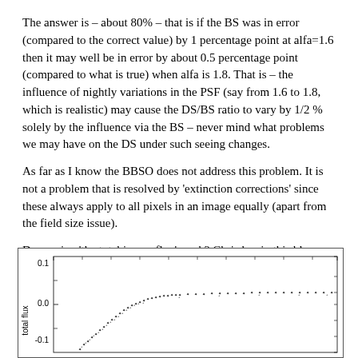The answer is – about 80% – that is if the BS was in error (compared to the correct value) by 1 percentage point at alfa=1.6 then it may well be in error by about 0.5 percentage point (compared to what is true) when alfa is 1.8. That is – the influence of nightly variations in the PSF (say from 1.6 to 1.8, which is realistic) may cause the DS/BS ratio to vary by 1/2 % solely by the influence via the BS – never mind what problems we may have on the DS under such seeing changes.
As far as I know the BBSO does not address this problem. It is not a problem that is resolved by 'extinction corrections' since these always apply to all pixels in an image equally (apart from the field size issue).
Does using 'the total image flux' work? Chris has in this blog analyzed what happens to the total flux when an image is convolved with PSFs of various alfas. We revisit those results now:
[Figure (continuous-plot): Scatter plot showing total flux vs alfa, with data points forming a curve that rises steeply then levels off near 0.0–0.05. Y-axis labeled 'total flux' ranging from about -0.1 to 0.1, partially visible.]